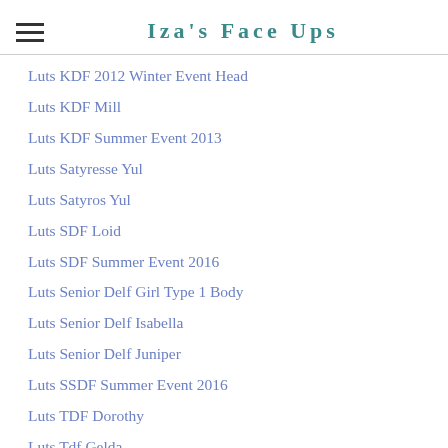Iza's Face Ups
Luts KDF 2012 Winter Event Head
Luts KDF Mill
Luts KDF Summer Event 2013
Luts Satyresse Yul
Luts Satyros Yul
Luts SDF Loid
Luts SDF Summer Event 2016
Luts Senior Delf Girl Type 1 Body
Luts Senior Delf Isabella
Luts Senior Delf Juniper
Luts SSDF Summer Event 2016
Luts TDF Dorothy
Luts Tdf Gelda
Luts TDF Tyltyl Elf
Luts Tiny Delf
Luts Winter Event 2011
Luwen